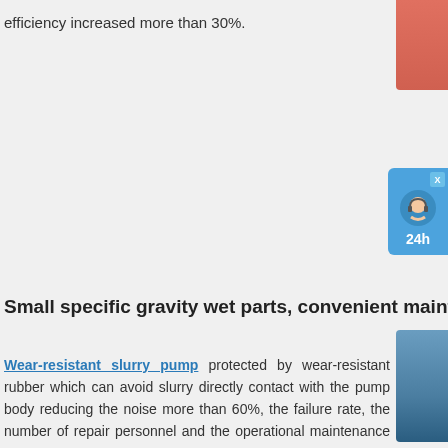efficiency increased more than 30%.
[Figure (photo): Partial view of a red/orange colored image at top right corner]
[Figure (infographic): Blue chat widget with close button X, headset icon, and '24h' text]
Small specific gravity wet parts, convenient maintenance, h
[Figure (photo): Blue partial image of a person or machinery at right side]
Wear-resistant slurry pump protected by wear-resistant rubber which can avoid slurry directly contact with the pump body reducing the noise more than 60%, the failure rate, the number of repair personnel and the operational maintenance cost.